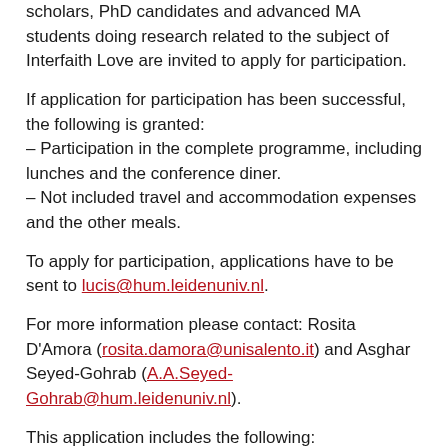scholars, PhD candidates and advanced MA students doing research related to the subject of Interfaith Love are invited to apply for participation.
If application for participation has been successful, the following is granted:
– Participation in the complete programme, including lunches and the conference diner.
– Not included travel and accommodation expenses and the other meals.
To apply for participation, applications have to be sent to lucis@hum.leidenuniv.nl.
For more information please contact: Rosita D'Amora (rosita.damora@unisalento.it) and Asghar Seyed-Gohrab (A.A.Seyed-Gohrab@hum.leidenuniv.nl).
This application includes the following: